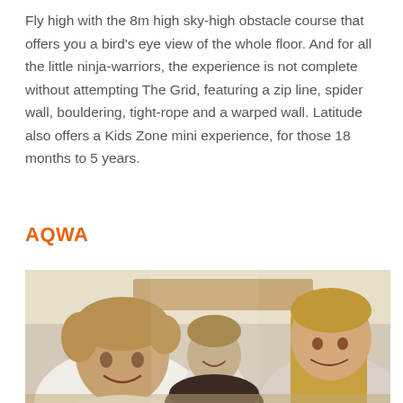Fly high with the 8m high sky-high obstacle course that offers you a bird's eye view of the whole floor. And for all the little ninja-warriors, the experience is not complete without attempting The Grid, featuring a zip line, spider wall, bouldering, tight-rope and a warped wall. Latitude also offers a Kids Zone mini experience, for those 18 months to 5 years.
AQWA
[Figure (photo): Three young people (two visible clearly) laughing and leaning over something, in a bright indoor setting. A man with short blond hair on the left leans in smiling, a young woman with long blond hair on the right looks down smiling, and a young man is visible smiling in the background center.]